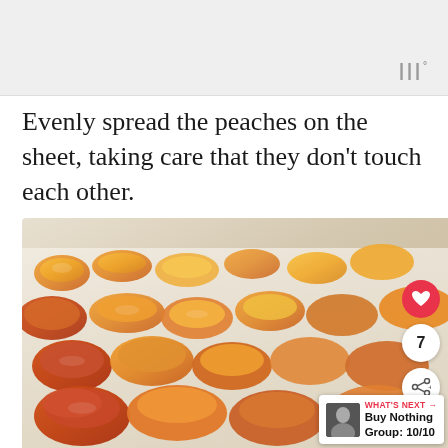[Figure (other): Top navigation/header bar area — light gray background with a logo mark (three vertical bars with degree symbol) in the top right]
Evenly spread the peaches on the sheet, taking care that they don't touch each other.
[Figure (photo): Close-up photograph of peach slices spread out in rows on a baking sheet lined with a silicone mat. The peach slices are orange-yellow and reddish, arranged in neat rows, not touching each other. A heart/like button (7 likes), a share button, and a 'WHAT'S NEXT → Buy Nothing Group: 10/10' overlay appear in the bottom-right corner.]